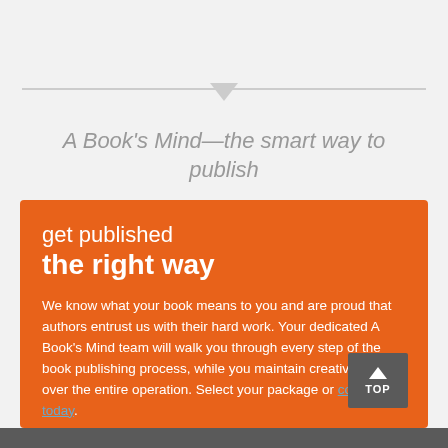A Book's Mind—the smart way to publish
get published the right way
We know what your book means to you and are proud that authors entrust us with their hard work. Your dedicated A Book's Mind team will walk you through every step of the book publishing process, while you maintain creative control over the entire operation. Select your package or contact us today.